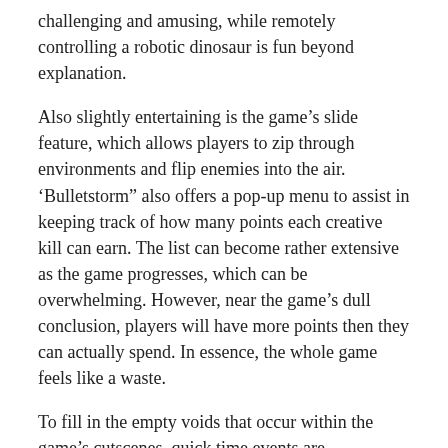challenging and amusing, while remotely controlling a robotic dinosaur is fun beyond explanation.
Also slightly entertaining is the game’s slide feature, which allows players to zip through environments and flip enemies into the air. ‘Bulletstorm” also offers a pop-up menu to assist in keeping track of how many points each creative kill can earn. The list can become rather extensive as the game progresses, which can be overwhelming. However, near the game’s dull conclusion, players will have more points then they can actually spend. In essence, the whole game feels like a waste.
To fill in the empty voids that occur within the game’s cutscenes, quick time events are implemented poorly and require no skill to perform. To make matters even worse, “Bulletstorm” can be completed in about six hours, which makes the $60 price of admission a lot less inviting.
Overall, “Bulletstorm” has some inventive features and a solid amount of detail, but in no way should this game be purchased while sold at its full price. Acting as a ploy to fool gamers into emptying their wallets